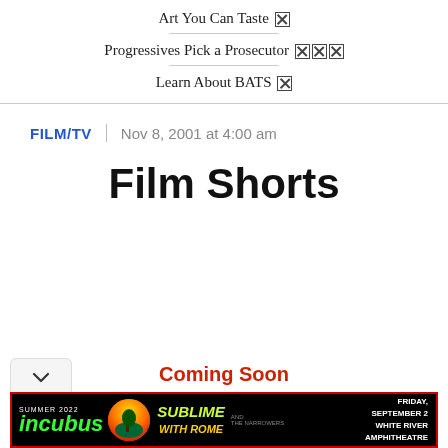Art You Can Taste ☒
Progressives Pick a Prosecutor ☒☒☒
Learn About BATS ☒
FILM/TV | Nov 8, 2001 at 4:00 am
Film Shorts
Coming Soon
[Figure (screenshot): Advertisement banner: Incubus and Sublime with Rome concert. Summer 2022. Friday, September 2, White River Amphitheatre.]